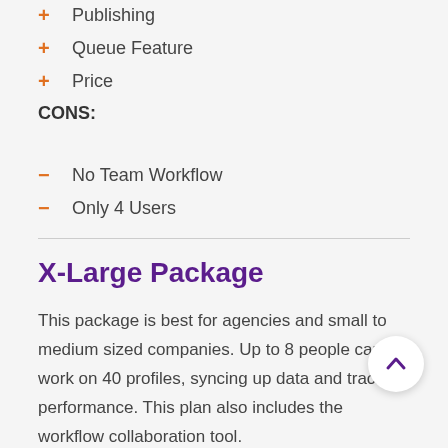+ Publishing
+ Queue Feature
+ Price
CONS:
- No Team Workflow
- Only 4 Users
X-Large Package
This package is best for agencies and small to medium sized companies. Up to 8 people can work on 40 profiles, syncing up data and tracking performance. This plan also includes the workflow collaboration tool.